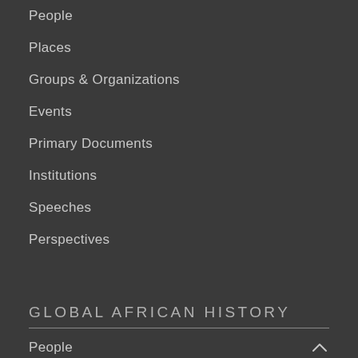People
Places
Groups & Organizations
Events
Primary Documents
Institutions
Speeches
Perspectives
GLOBAL AFRICAN HISTORY
People
Places